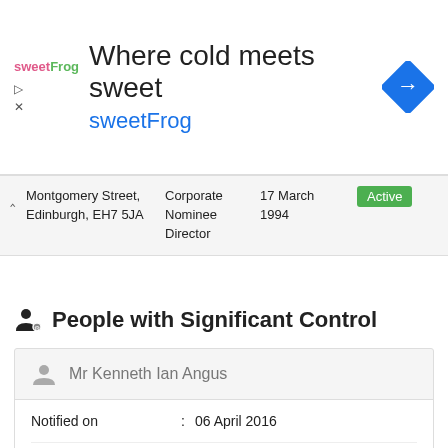[Figure (screenshot): SweetFrog advertisement banner with logo, headline 'Where cold meets sweet', subheadline 'sweetFrog', and blue diamond navigation arrow icon]
| Address | Role | Date | Status |
| --- | --- | --- | --- |
| Montgomery Street, Edinburgh, EH7 5JA | Corporate Nominee Director | 17 March 1994 | Active |
People with Significant Control
Mr Kenneth Ian Angus
| Field |  | Value |
| --- | --- | --- |
| Notified on | : | 06 April 2016 |
| Status | : | Active |
| Date of birth | : | May 1956 |
| Nationality | : | British |